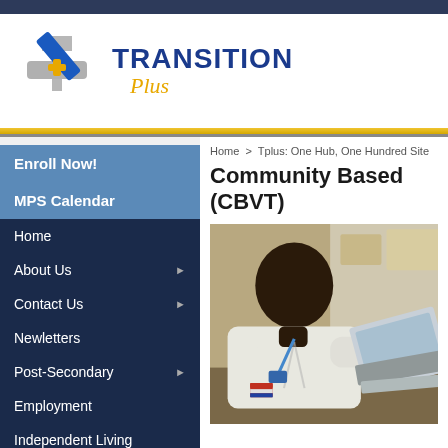Transition Plus
Enroll Now!
MPS Calendar
Home
About Us
Contact Us
Newletters
Post-Secondary
Employment
Independent Living
Home > Tplus: One Hub, One Hundred Site
Community Based (CBVT)
[Figure (photo): Young man working on electronics/mechanical equipment, leaning over a laptop or device, wearing a white shirt]